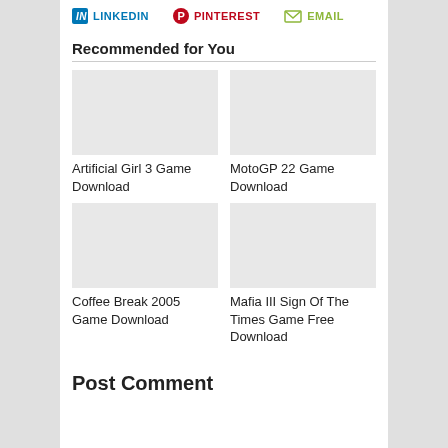LINKEDIN   PINTEREST   EMAIL
Recommended for You
Artificial Girl 3 Game Download
MotoGP 22 Game Download
Coffee Break 2005 Game Download
Mafia III Sign Of The Times Game Free Download
Post Comment